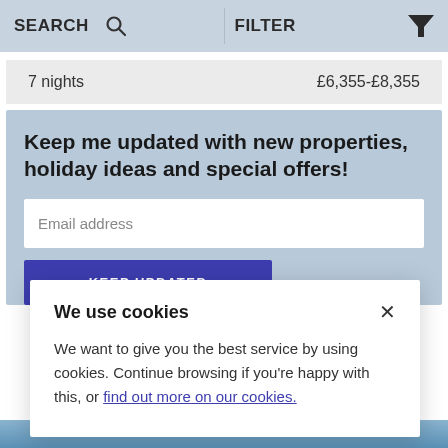SEARCH   FILTER
7 nights   £6,355-£8,355
Keep me updated with new properties, holiday ideas and special offers!
Email address
KEEP UPDATED
We use cookies
We want to give you the best service by using cookies. Continue browsing if you're happy with this, or find out more on our cookies.